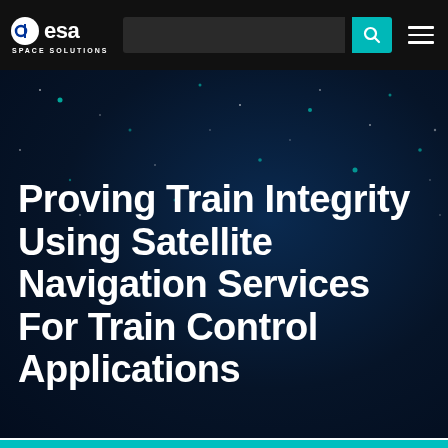[Figure (logo): ESA Space Solutions logo in top navigation bar with search field and hamburger menu on dark background]
Proving Train Integrity Using Satellite Navigation Services For Train Control Applications